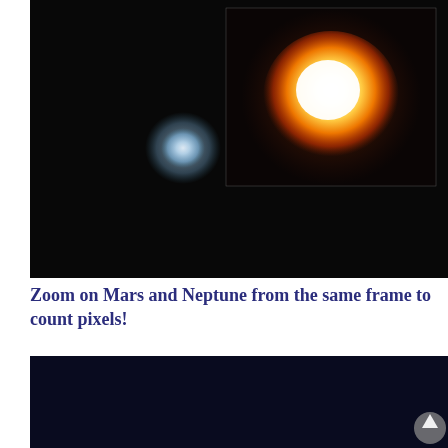[Figure (photo): Astronomical photograph showing two celestial bodies: a small blue-white blob (Neptune) on the left side against a dark background, and a large bright orange-white glowing sphere (Mars) in the upper right, shown in a zoomed inset frame.]
Zoom on Mars and Neptune from the same frame to count pixels!
[Figure (photo): Dark navy/black astronomical image, beginning of another photo, with a small arrow/scroll-to-top button visible in the lower right corner.]